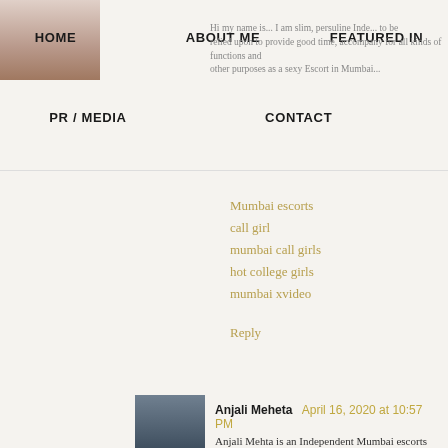[Figure (photo): Small portrait photo in top-left navigation area]
HOME   ABOUT ME   FEATURED IN   PR / MEDIA   CONTACT
Hi my name is... [partial text about escort services in Mumbai]
Mumbai escorts
call girl
mumbai call girls
hot college girls
mumbai xvideo
Reply
[Figure (photo): Avatar photo of Anjali Meheta]
Anjali Meheta  April 16, 2020 at 10:57 PM
Anjali Mehta is an Independent Mumbai escorts girls. If you are looking Girls like a Female, Housewife, Celebrity, Actress, college Girls, Model
Mumbai Escorts||
Mumbai Escort Service||
Mumbai Female Escorts||
Mumbai Escorts Agency||
Mumbai Call Girls||
Mumbai Call Girl Number||
Navi Mumbai Call Girls||